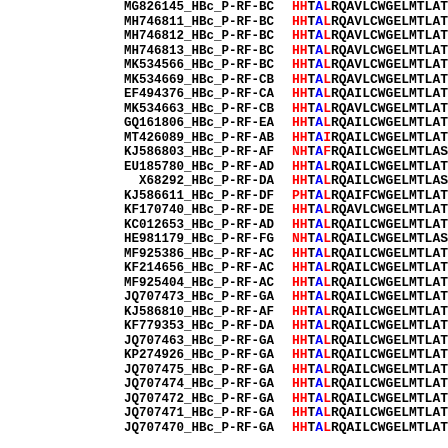[Figure (other): Multiple sequence alignment showing HBc protein sequences with colored residues (red and blue highlights on conserved positions) for accessions MG826145 through JQ707470, all labeled HBc_P-RF-* variants. Left column shows sequence IDs in monospace, right column shows partial amino acid sequences HHTALRQ... with H in red, H in red, T in blue, A in red, L in blue coloring pattern.]